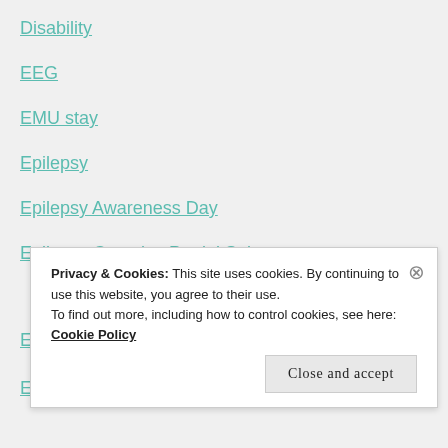Disability
EEG
EMU stay
Epilepsy
Epilepsy Awareness Day
Epilepsy Complex Partial Seizures
Epilepsy Low IQ
Privacy & Cookies: This site uses cookies. By continuing to use this website, you agree to their use. To find out more, including how to control cookies, see here: Cookie Policy
Close and accept